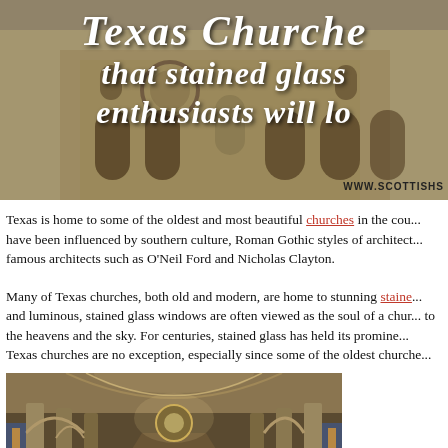[Figure (photo): Hero image of a historic stone church exterior with Gothic arched windows and a rose window, overlaid with italic white text reading 'Texas Churches that stained glass enthusiasts will lo...' and a watermark 'WWW.SCOTTISHS...' in bottom right]
Texas is home to some of the oldest and most beautiful churches in the cou... have been influenced by southern culture, Roman Gothic styles of architect... famous architects such as O'Neil Ford and Nicholas Clayton.
Many of Texas churches, both old and modern, are home to stunning staine... and luminous, stained glass windows are often viewed as the soul of a chur... to the heavens and the sky. For centuries, stained glass has held its promine... Texas churches are no exception, especially since some of the oldest churche...
[Figure (photo): Interior of a historic Texas church showing Gothic arched nave, stone columns, wooden pews, and warm lighting with stained glass windows visible on the sides]